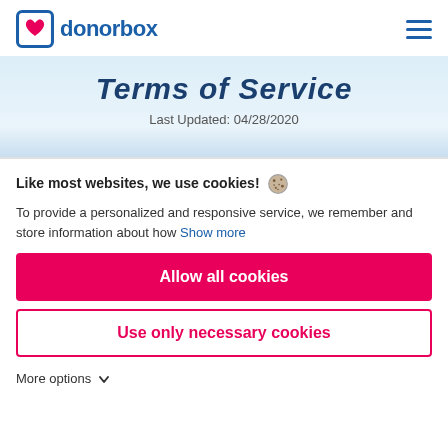donorbox
Terms of Service
Last Updated: 04/28/2020
Like most websites, we use cookies! 🍪
To provide a personalized and responsive service, we remember and store information about how  Show more
Allow all cookies
Use only necessary cookies
More options